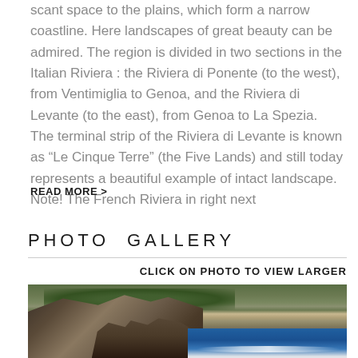scant space to the plains, which form a narrow coastline. Here landscapes of great beauty can be admired. The region is divided in two sections in the Italian Riviera : the Riviera di Ponente (to the west), from Ventimiglia to Genoa, and the Riviera di Levante (to the east), from Genoa to La Spezia. The terminal strip of the Riviera di Levante is known as “Le Cinque Terre” (the Five Lands) and still today represents a beautiful example of intact landscape. Note! The French Riviera in right next
READ MORE >
PHOTO GALLERY
CLICK ON PHOTO TO VIEW LARGER
[Figure (photo): Coastal rocky cliff landscape with green vegetation on top, large rock formations in the foreground, and blue sea in the background with white waves.]